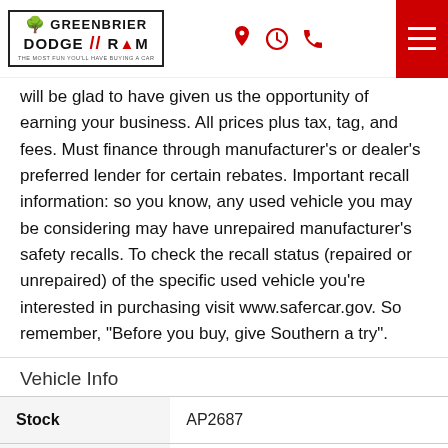Greenbrier Dodge RAM
will be glad to have given us the opportunity of earning your business. All prices plus tax, tag, and fees. Must finance through manufacturer's or dealer's preferred lender for certain rebates. Important recall information: so you know, any used vehicle you may be considering may have unrepaired manufacturer's safety recalls. To check the recall status (repaired or unrepaired) of the specific used vehicle you're interested in purchasing visit www.safercar.gov. So remember, "Before you buy, give Southern a try".
Vehicle Info
|  |  |
| --- | --- |
| Stock | AP2687 |
| VIN | 1C4RJFBG4LC216857 |
| Package | Complete Package of Chrom... |
Package    Complete Package of Chrom...